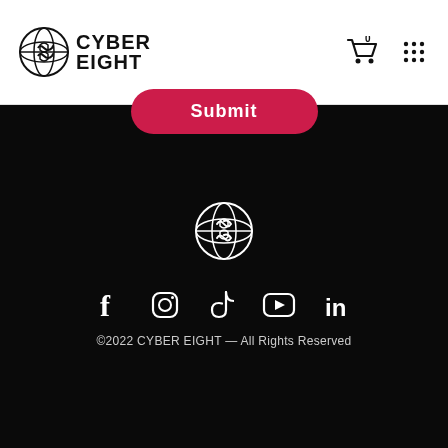[Figure (logo): Cyber Eight globe logo with stylized '8' mark, black text on white background reading CYBER EIGHT]
[Figure (infographic): Shopping cart icon with badge showing 0, and 3x3 dot grid menu icon in header]
[Figure (infographic): Pink/red rounded Submit button partially visible at top of black section]
[Figure (logo): Cyber Eight globe logo in white, centered in black footer area]
[Figure (infographic): Social media icons row: Facebook, Instagram, TikTok, YouTube, LinkedIn — all white on black background]
©2022 CYBER EIGHT — All Rights Reserved